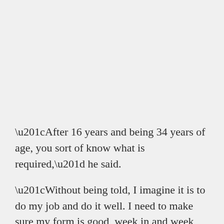“After 16 years and being 34 years of age, you sort of know what is required,” he said.
“Without being told, I imagine it is to do my job and do it well. I need to make sure my form is good, week in and week out.”